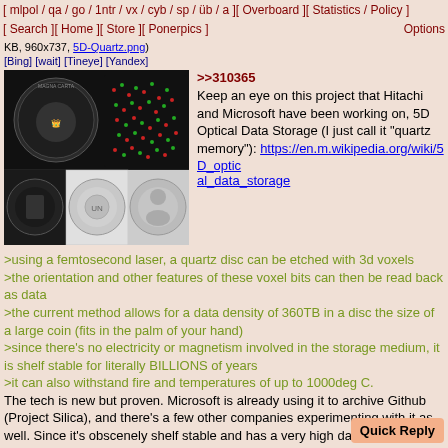[ mlpol / qa / go / 1ntr / vx / cyb / sp / üb / a ][ Overboard ][ Statistics / Policy ] [ Search ][ Home ][ Store ][ Ponerpics ] Options
KB, 960x737, 5D-Quartz.png)
[Bing] [wait] [Tineye] [Yandex]
[Figure (photo): Composite image showing coins/medallions with Magna Carta text and microscopic images of 5D optical data storage voxel patterns (red and green dots on dark background)]
>>310365
Keep an eye on this project that Hitachi and Microsoft have been working on, 5D Optical Data Storage (I just call it "quartz memory"): https://en.m.wikipedia.org/wiki/5D_optical_data_storage
>using a femtosecond laser, a quartz disc can be etched with 3d voxels
>the orientation and other features of these voxel bits can then be read back as data
>the current method allows for a data density of 360TB in a disc the size of a large coin (fits in the palm of your hand)
>since there's no electricity or magnetism involved in the storage medium, it is shelf stable for literally BILLIONS of years
>it can also withstand fire and temperatures of up to 1000deg C.
The tech is new but proven. Microsoft is already using it to archive Github (Project Silica), and there's a few other companies experimenting with it as well. Since it's obscenely shelf stable and has a very high data density, I expect it will become very popular in the datacenter world as a method of backing up data. Within the next 10 years I'm hoping this becomes available to the public. Imagine if we could get hold of one of these and put the entire pony fandom on it.
The only limitation is that it's write-once, but for archiva